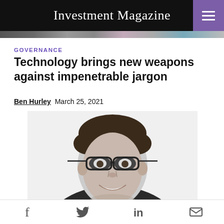Investment Magazine
GOVERNANCE
Technology brings new weapons against impenetrable jargon
Ben Hurley, March 25, 2021
[Figure (photo): Black and white headshot of Ben Hurley, a man with curly dark hair and glasses, smiling, wearing a dark jacket.]
Social share icons: Facebook, Twitter, LinkedIn, Email